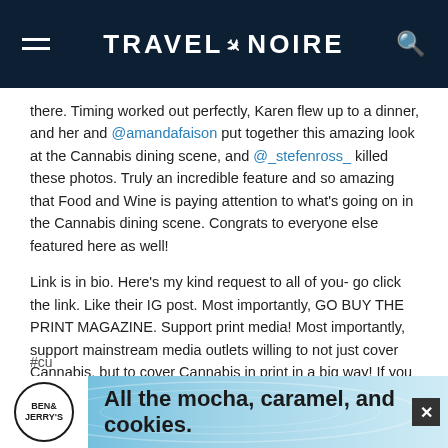TRAVEL + NOIRE
there. Timing worked out perfectly, Karen flew up to a dinner, and her and @amandafaison put together this amazing look at the Cannabis dining scene, and @_stefenross_ killed these photos. Truly an incredible feature and so amazing that Food and Wine is paying attention to what's going on in the Cannabis dining scene. Congrats to everyone else featured here as well!

Link is in bio. Here's my kind request to all of you- go click the link. Like their IG post. Most importantly, GO BUY THE PRINT MAGAZINE. Support print media! Most importantly, support mainstream media outlets willing to not just cover Cannabis, but to cover Cannabis in print in a big way! If you believe in what we're doing, let them know with your clicks and your dollars. For an incredibly respected, important magazine to cover us in print like this deserves our support. Its also the way we'll see more coverage, more varied coverage.
[Figure (infographic): Ben & Jerry's advertisement banner with text 'All the mocha, caramel, and cookies.' on a light blue swirl background]